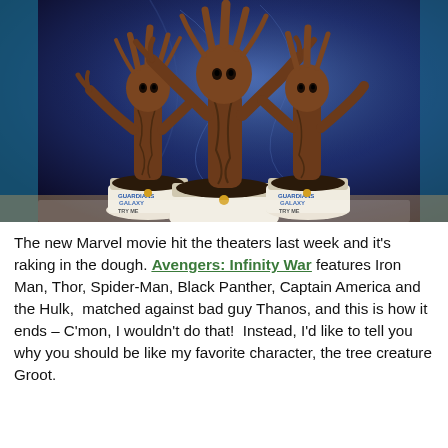[Figure (photo): Three Baby Groot dancing figurines in small pots labeled 'Guardians of the Galaxy – TRY ME – Button to Dance', displayed inside a Guardians of the Galaxy themed box with blue/purple cosmic background art.]
The new Marvel movie hit the theaters last week and it's raking in the dough. Avengers: Infinity War features Iron Man, Thor, Spider-Man, Black Panther, Captain America and the Hulk, matched against bad guy Thanos, and this is how it ends – C'mon, I wouldn't do that! Instead, I'd like to tell you why you should be like my favorite character, the tree creature Groot.